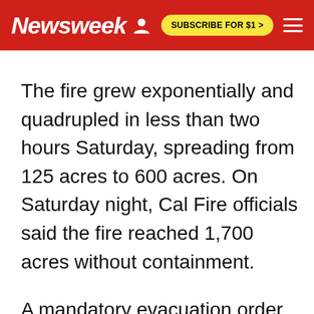Newsweek | SUBSCRIBE FOR $1 >
The fire grew exponentially and quadrupled in less than two hours Saturday, spreading from 125 acres to 600 acres. On Saturday night, Cal Fire officials said the fire reached 1,700 acres without containment.
A mandatory evacuation order was issued to all residents on County Road 41, Cal Fire officials told KCRA-TV Sunday. An evacuation center for residents affected by the the Sand